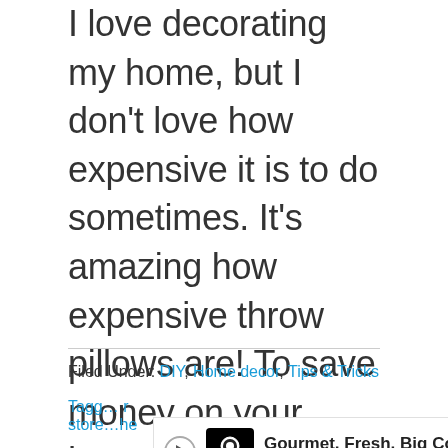I love decorating my home, but I don't love how expensive it is to do sometimes. It's amazing how expensive throw pillows are! To save money on your home decor, check out these home decor ideas from the dollar store. They're super cheap! 5 DIY Home Decor Ideas From The Dollar Store DIY Home Decor […]
Filed Under: DIY, Home decor, Tips & Tricks
Tagged … dollar store … the
[Figure (other): Advertisement banner for Crumbl Cookies - Ashburn with text 'Gourmet, Fresh, Big Cookies' and a navigation arrow icon]